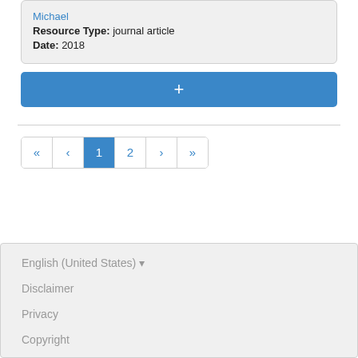Michael
Resource Type: journal article
Date: 2018
+
« ‹ 1 2 › »
English (United States) ▾
Disclaimer
Privacy
Copyright